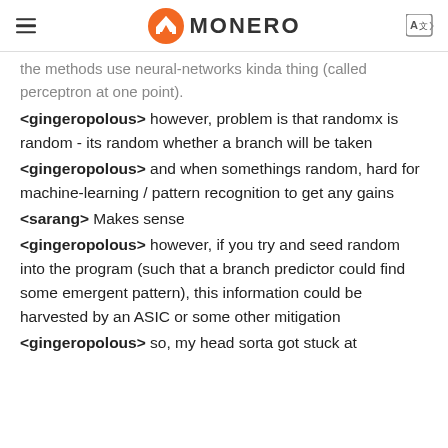MONERO
the methods use neural-networks kinda thing (called perceptron at one point).
<gingeropolous> however, problem is that randomx is random - its random whether a branch will be taken
<gingeropolous> and when somethings random, hard for machine-learning / pattern recognition to get any gains
<sarang> Makes sense
<gingeropolous> however, if you try and seed random into the program (such that a branch predictor could find some emergent pattern), this information could be harvested by an ASIC or some other mitigation
<gingeropolous> so, my head sorta got stuck at